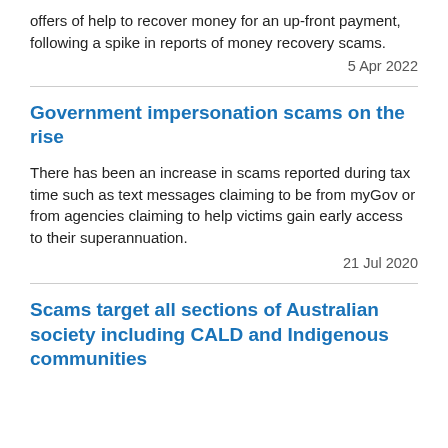offers of help to recover money for an up-front payment, following a spike in reports of money recovery scams.
5 Apr 2022
Government impersonation scams on the rise
There has been an increase in scams reported during tax time such as text messages claiming to be from myGov or from agencies claiming to help victims gain early access to their superannuation.
21 Jul 2020
Scams target all sections of Australian society including CALD and Indigenous communities